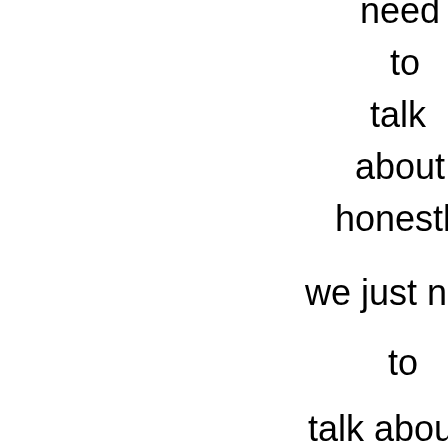need
to
talk
about
honestly

we just need

to

talk about the

truth

there